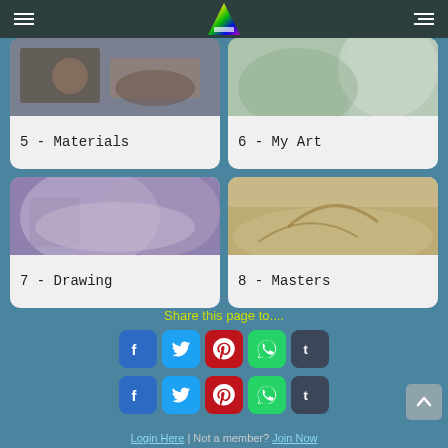Navigation header with logo
[Figure (screenshot): Card grid with 4 course category thumbnails: 5-Materials, 6-My Art, 7-Drawing, 8-Masters]
Share this page to....
[Figure (infographic): Social share buttons row 1: Facebook, Twitter, Pinterest, WhatsApp, Tumblr]
[Figure (infographic): Social share buttons row 2: Facebook, Twitter, Pinterest, WhatsApp, Tumblr]
Login Here | Not a member? Join Now